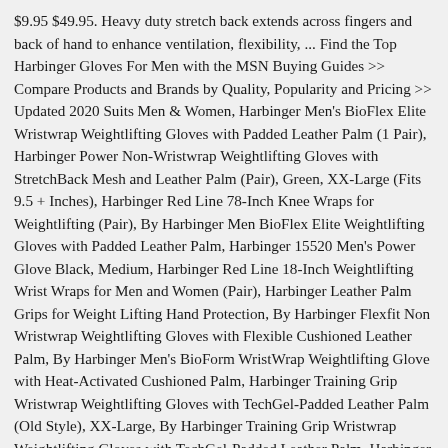$9.95 $49.95. Heavy duty stretch back extends across fingers and back of hand to enhance ventilation, flexibility, ... Find the Top Harbinger Gloves For Men with the MSN Buying Guides >> Compare Products and Brands by Quality, Popularity and Pricing >> Updated 2020 Suits Men & Women, Harbinger Men's BioFlex Elite Wristwrap Weightlifting Gloves with Padded Leather Palm (1 Pair), Harbinger Power Non-Wristwrap Weightlifting Gloves with StretchBack Mesh and Leather Palm (Pair), Green, XX-Large (Fits 9.5 + Inches), Harbinger Red Line 78-Inch Knee Wraps for Weightlifting (Pair), By Harbinger Men BioFlex Elite Weightlifting Gloves with Padded Leather Palm, Harbinger 15520 Men's Power Glove Black, Medium, Harbinger Red Line 18-Inch Weightlifting Wrist Wraps for Men and Women (Pair), Harbinger Leather Palm Grips for Weight Lifting Hand Protection, By Harbinger Flexfit Non Wristwrap Weightlifting Gloves with Flexible Cushioned Leather Palm, By Harbinger Men's BioForm WristWrap Weightlifting Glove with Heat-Activated Cushioned Palm, Harbinger Training Grip Wristwrap Weightlifting Gloves with TechGel-Padded Leather Palm (Old Style), XX-Large, By Harbinger Training Grip Wristwrap Weightlifting Gloves with TechGel-Padded Leather Palm, Harbinger Recyclable Foam Eco Fit Exercise Mat 3/8-Inch, Harbinger Men's Classic Wrist Wrap Glove with Leather Palm (Pair), By Harbinger Power Non-Wristwrap Weightlifting Gloves with Stretch...